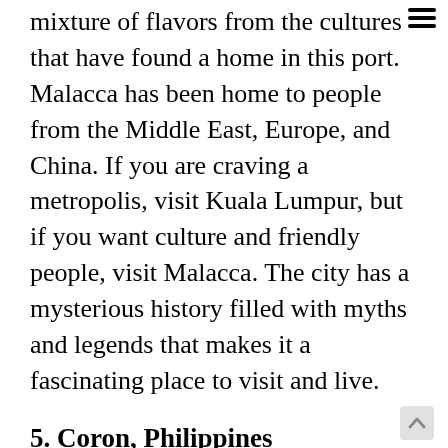mixture of flavors from the cultures that have found a home in this port. Malacca has been home to people from the Middle East, Europe, and China. If you are craving a metropolis, visit Kuala Lumpur, but if you want culture and friendly people, visit Malacca. The city has a mysterious history filled with myths and legends that makes it a fascinating place to visit and live.
5. Coron, Philippines
After your time on the continent, this final spot brings you to a small island in the Philippines. Coron is a hop, skip, and jump from Palawan Island, a popular tourist destination. But, Coron is quiet, pristine, and more affordable for